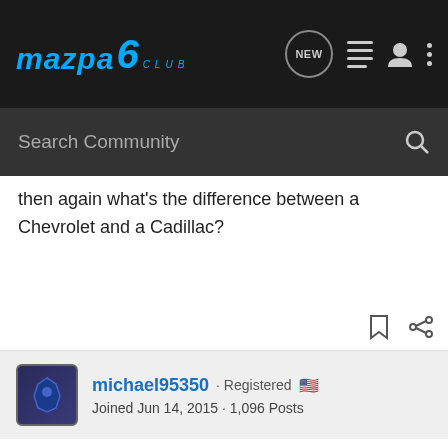Mazda6 Club - Navigation bar with Search Community
then again what's the difference between a Chevrolet and a Cadillac?
michael95350 · Registered 🇺🇸
Joined Jun 14, 2015 · 1,096 Posts
#44 · Dec 31, 2015
JimRouse said: ↑
Does anyone know who manufactures the Mazda moly oil? I'm guessing Mazda Corp isn't in the refining business. Can the same moly oil be bought under a different brand name than Mazda?